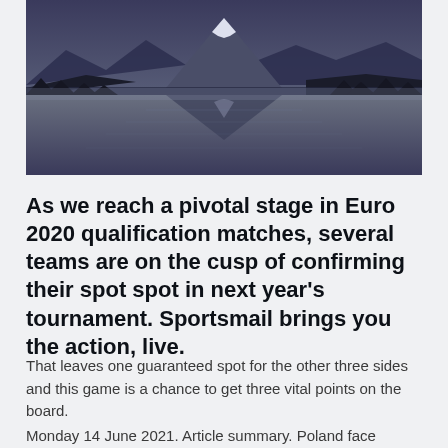[Figure (photo): A scenic mountain landscape reflecting on a still lake at dusk, with a snow-capped peak (resembling Mt. Fuji) and dark blue-purple tones.]
As we reach a pivotal stage in Euro 2020 qualification matches, several teams are on the cusp of confirming their spot spot in next year's tournament. Sportsmail brings you the action, live.
That leaves one guaranteed spot for the other three sides and this game is a chance to get three vital points on the board.
Monday 14 June 2021. Article summary. Poland face